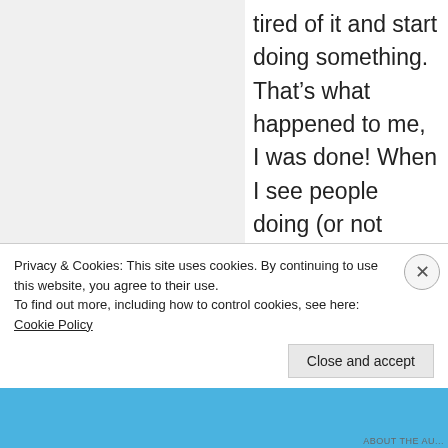tired of it and start doing something. That's what happened to me, I was done! When I see people doing (or not doing) the same the thing, I'll tell them until you're done with the excuses nothing is going to change. Like my friend I mentioned in my last post to you. I know she is not going to come out and run with me or do any race with until she stops making excuses; and she has buckets full. Right now she is comfortable in her
Privacy & Cookies: This site uses cookies. By continuing to use this website, you agree to their use.
To find out more, including how to control cookies, see here: Cookie Policy
Close and accept